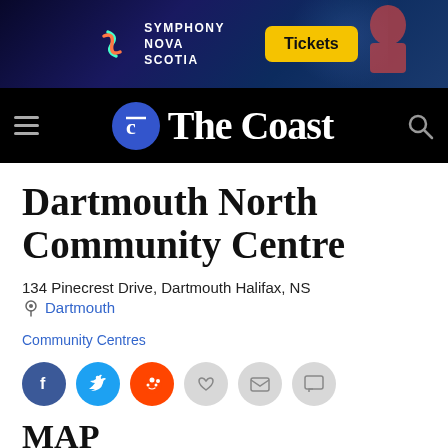[Figure (screenshot): Symphony Nova Scotia advertisement banner with dark blue background, musician image, and yellow Tickets button]
[Figure (logo): The Coast newspaper navigation bar with hamburger menu, circular C logo, The Coast title, and search icon on black background]
Dartmouth North Community Centre
134 Pinecrest Drive, Dartmouth Halifax, NS
Dartmouth
Community Centres
[Figure (infographic): Social sharing buttons: Facebook, Twitter, Reddit, heart/like, email, and comment icons]
MAP